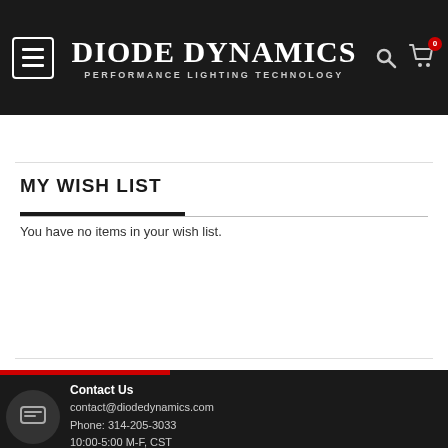Diode Dynamics — Performance Lighting Technology
MY WISH LIST
You have no items in your wish list.
Contact Us
contact@diodedynamics.com
Phone: 314-205-3033
10:00-5:00 M-F, CST